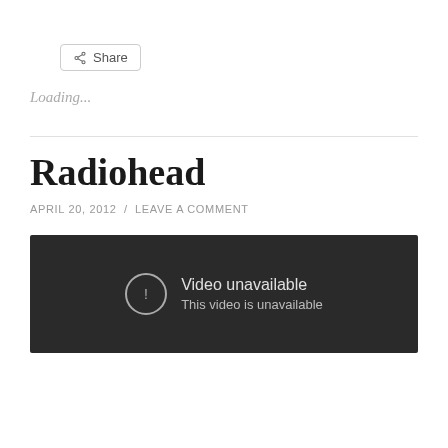[Figure (screenshot): Share button with share icon]
Loading...
Radiohead
APRIL 20, 2012 / LEAVE A COMMENT
[Figure (screenshot): Video unavailable placeholder with dark background. Shows circle with exclamation mark icon, text 'Video unavailable' and 'This video is unavailable']